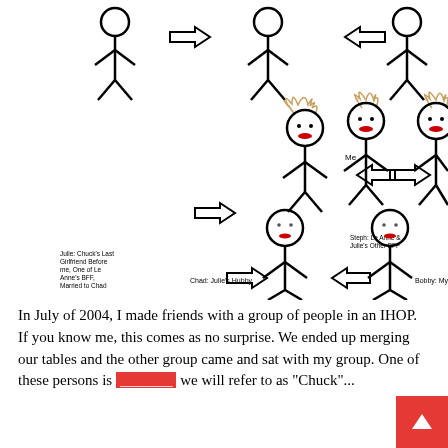[Figure (illustration): Hand-drawn stick figure diagram showing relationships between people: top row has three stick figures with arrows indicating direction; middle row has three stick figures with female characteristics (hair, red lips) labeled 'Julie: Chuck's Last Girlfriend Before me, One of Le Anne's BFF, Married to Chad', 'Me', and 'Steph: Le Anne & Julie's Other BFF'; bottom row has two male stick figures labeled 'Chad: Julie's Hubby' and 'Bobby: My Hubby' with arrows pointing to each.]
In July of 2004, I made friends with a group of people in an IHOP. If you know me, this comes as no surprise. We ended up merging our tables and the other group came and sat with my group. One of these persons is _______ we will refer to as "Chuck"...